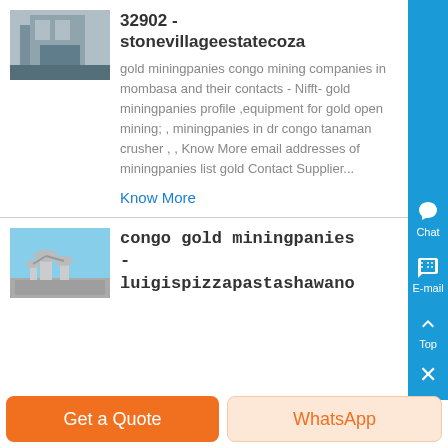32902 - stonevillageestatecoza
gold miningpanies congo mining companies in mombasa and their contacts - Nifft- gold miningpanies profile ,equipment for gold open mining; , miningpanies in dr congo tanaman crusher , , Know More email addresses of miningpanies list gold Contact Supplier...
Know More
[Figure (photo): Industrial building interior photo]
congo gold miningpanies - luigispizzapastashawano
[Figure (photo): Industrial equipment with pipes/cyclones against blue sky]